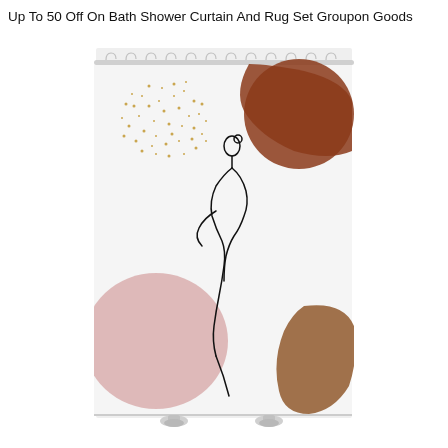Up To 50 Off On Bath Shower Curtain And Rug Set Groupon Goods
[Figure (photo): A decorative shower curtain displayed on a rod with chrome hooks. The curtain is white with abstract art: a terracotta/rust large shape in the upper right, a smaller terracotta shape lower right, a rose/mauve pink large circle lower left, a scattered gold dot pattern upper left, and a minimalist continuous line drawing of a woman figure in the center. The curtain hangs from a rod at the top and is displayed on chrome feet/legs at the bottom.]